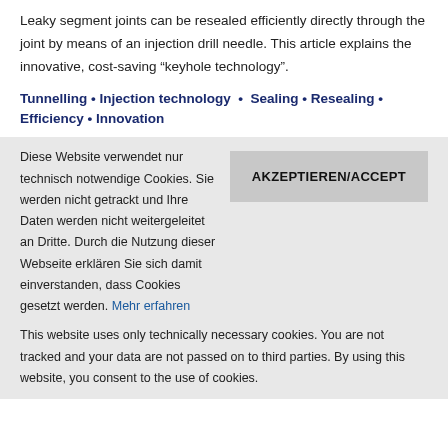Leaky segment joints can be resealed efficiently directly through the joint by means of an injection drill needle. This article explains the innovative, cost-saving “keyhole technology”.
Tunnelling • Injection technology • Sealing • Resealing • Efficiency • Innovation
Diese Website verwendet nur technisch notwendige Cookies. Sie werden nicht getrackt und Ihre Daten werden nicht weitergeleitet an Dritte. Durch die Nutzung dieser Webseite erklären Sie sich damit einverstanden, dass Cookies gesetzt werden. Mehr erfahren
This website uses only technically necessary cookies. You are not tracked and your data are not passed on to third parties. By using this website, you consent to the use of cookies.